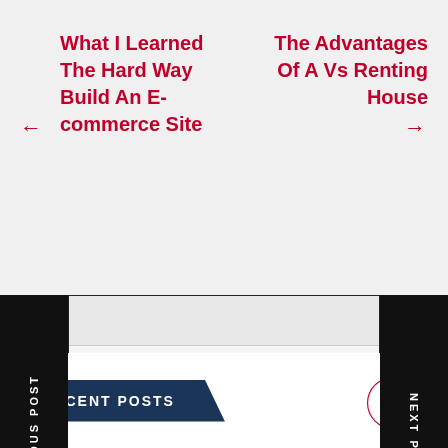← What I Learned The Hard Way Build An E-commerce Site
The Advantages Of A Vs Renting House →
PREVIOUS POST
NEXT POST
arch ...
Search
RECENT POSTS